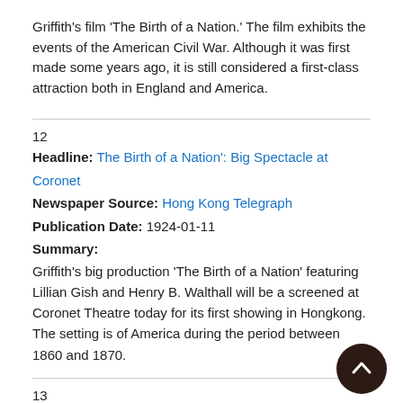Griffith's film 'The Birth of a Nation.' The film exhibits the events of the American Civil War. Although it was first made some years ago, it is still considered a first-class attraction both in England and America.
12
Headline: The Birth of a Nation': Big Spectacle at Coronet
Newspaper Source: Hong Kong Telegraph
Publication Date: 1924-01-11
Summary:
Griffith's big production 'The Birth of a Nation' featuring Lillian Gish and Henry B. Walthall will be a screened at Coronet Theatre today for its first showing in Hongkong. The setting is of America during the period between 1860 and 1870.
13
Headline: Hong Kong Telegraph News 1924-01-14
Newspaper Source: Hong Kong Telegraph
Publication Date: 1924-01-14
Summary:
So great was the number of applications for seats to see 'The Birth...